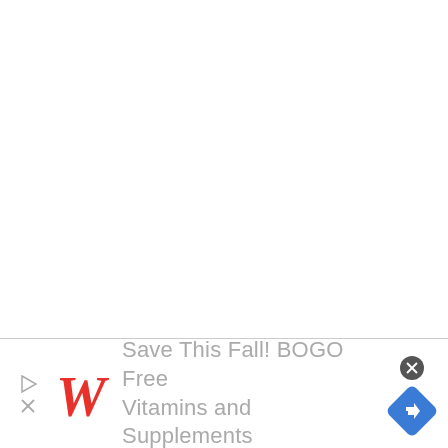[Figure (illustration): Advertisement banner for Walgreens at the bottom of the page. Shows Walgreens cursive W logo in red, text reading 'Save This Fall! BOGO Free Vitamins and Supplements' in grey, a play triangle icon on the left, a close X icon bottom-left, a circular close button top-right, and a blue diamond-shaped navigation icon on the right.]